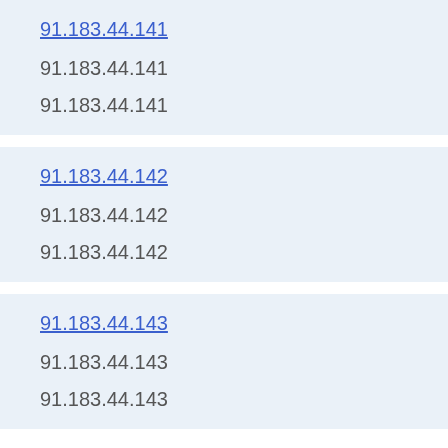91.183.44.141
91.183.44.141
91.183.44.141
91.183.44.142
91.183.44.142
91.183.44.142
91.183.44.143
91.183.44.143
91.183.44.143